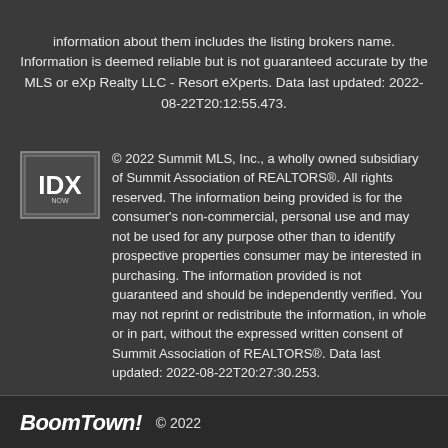information about them includes the listing brokers name. Information is deemed reliable but is not guaranteed accurate by the MLS or eXp Realty LLC - Resort eXperts. Data last updated: 2022-08-22T20:12:55.473.
[Figure (logo): IDX logo — square logo with 'IDX' text in bold on a dark/grey background with a border]
© 2022 Summit MLS, Inc., a wholly owned subsidiary of Summit Association of REALTORS®. All rights reserved. The information being provided is for the consumer's non-commercial, personal use and may not be used for any purpose other than to identify prospective properties consumer may be interested in purchasing. The information provided is not guaranteed and should be independently verified. You may not reprint or redistribute the information, in whole or in part, without the expressed written consent of Summit Association of REALTORS®. Data last updated: 2022-08-22T20:27:30.253.
BoomTown! © 2022 | Terms of Use | Privacy Policy | Accessibility | DMCA | Listings Sitemap